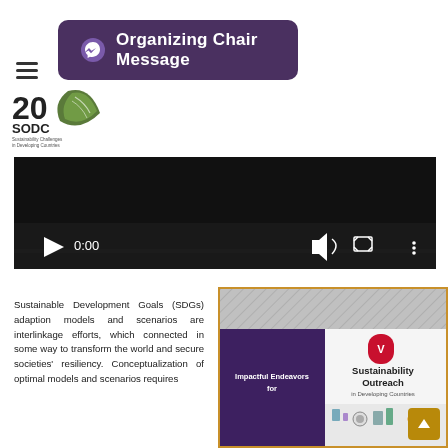Organizing Chair Message
[Figure (logo): SODC 20th anniversary logo with leaf/feather motif]
[Figure (screenshot): Embedded video player, dark background, showing controls: play button, timestamp 0:00, volume, fullscreen, menu icons, and a progress bar]
Sustainable Development Goals (SDGs) adaption models and scenarios are interlinkage efforts, which connected in some way to transform the world and secure societies' resiliency. Conceptualization of optimal models and scenarios requires
[Figure (photo): Book cover: 'Impactful Endeavors for [SDGs]' with 'Sustainability Outreach in Developing Countries' branding and industrial/sustainability icons]